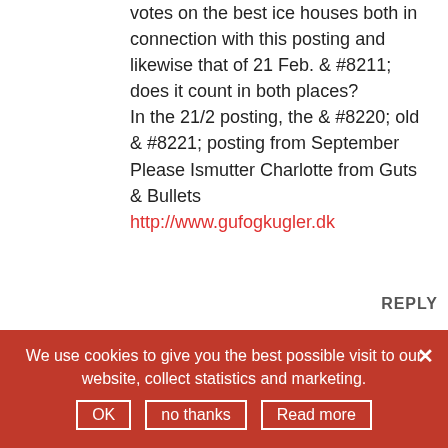votes on the best ice houses both in connection with this posting and likewise that of 21 Feb. & #8211; does it count in both places?
In the 21/2 posting, the & #8220; old & #8221; posting from September Please Ismutter Charlotte from Guts & Bullets
http://www.gufogkugler.dk
REPLY
The editors on 27. February 2017
Hi Charlotte...
We use cookies to give you the best possible visit to our website, collect statistics and marketing.
OK  no thanks  Read more